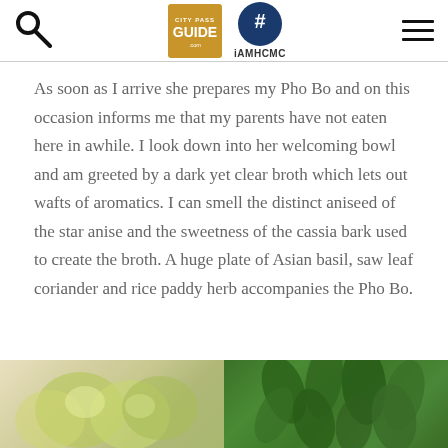City Pass Guide | iAMHCMC
As soon as I arrive she prepares my Pho Bo and on this occasion informs me that my parents have not eaten here in awhile. I look down into her welcoming bowl and am greeted by a dark yet clear broth which lets out wafts of aromatics. I can smell the distinct aniseed of the star anise and the sweetness of the cassia bark used to create the broth. A huge plate of Asian basil, saw leaf coriander and rice paddy herb accompanies the Pho Bo.
[Figure (photo): Photo showing lime wedges and fresh green herbs (basil/coriander), typical Pho Bo accompaniments, cropped at the bottom of the page.]